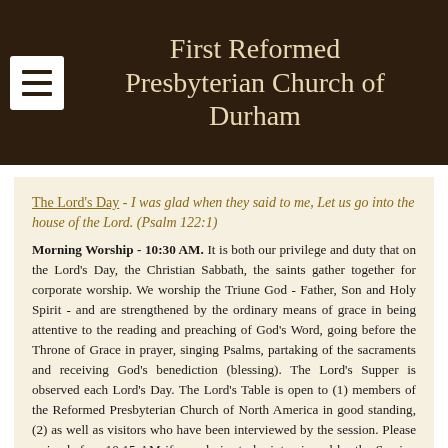First Reformed Presbyterian Church of Durham
The Lord's Day - I was glad when they said to me, Let us go into the house of the Lord. (Psalm 122:1)
Morning Worship - 10:30 AM. It is both our privilege and duty that on the Lord's Day, the Christian Sabbath, the saints gather together for corporate worship. We worship the Triune God - Father, Son and Holy Spirit - and are strengthened by the ordinary means of grace in being attentive to the reading and preaching of God's Word, going before the Throne of Grace in prayer, singing Psalms, partaking of the sacraments and receiving God's benediction (blessing). The Lord's Supper is observed each Lord's Day. The Lord's Table is open to (1) members of the Reformed Presbyterian Church of North America in good standing, (2) as well as visitors who have been interviewed by the session. Please arrive before 10:15 AM if you desire to be interviewed by the Session for admission to the Lord's Table. Visitors who either are not